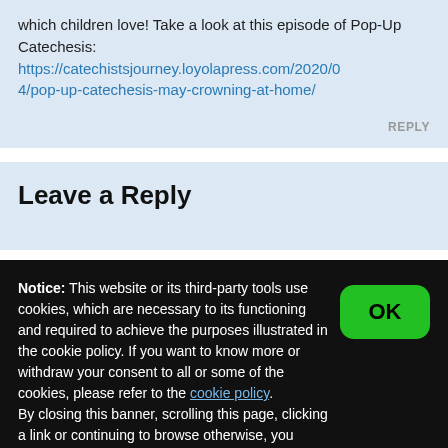which children love! Take a look at this episode of Pop-Up Catechesis: https://catechistsjourney.loyolapress.com/2020/04/pop-up-catechesis-may-crowning-at-home/
REPLY
Leave a Reply
Notice: This website or its third-party tools use cookies, which are necessary to its functioning and required to achieve the purposes illustrated in the cookie policy. If you want to know more or withdraw your consent to all or some of the cookies, please refer to the cookie policy.
By closing this banner, scrolling this page, clicking a link or continuing to browse otherwise, you agree to the use of cookies.